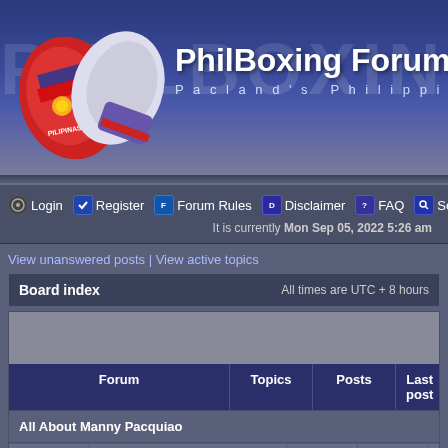[Figure (screenshot): PhilBoxing Forum banner with Philippine boxing gloves image and site title]
PhilBoxing Forum — Pacland's Philippine Boxing Fo
PhilBoxing Forum
Pacland's Philippine Boxing Fo
Login  Register  Forum Rules  Disclaimer  FAQ  Search
It is currently Mon Sep 05, 2022 5:26 am
View unanswered posts | View active topics
| Board index | All times are UTC + 8 hours |
| --- | --- |
| Forum | Topics | Posts | Last post |
| --- | --- | --- | --- |
| All About Manny Pacquiao |  |  |  |
| Manny Pacquiao General Discussion
General discussion on Manny's fights, |  |  |  |